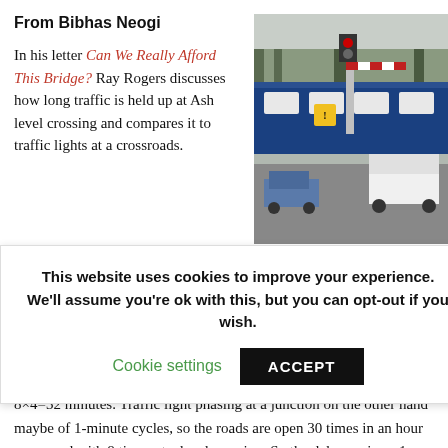From Bibhas Neogi
In his letter Can We Really Afford This Bridge? Ray Rogers discusses how long traffic is held up at Ash level crossing and compares it to traffic lights at a crossroads.
[Figure (photo): Photo of a level crossing with a blue train, barrier with red lights, and vehicles queued]
This website uses cookies to improve your experience. We'll assume you're ok with this, but you can opt-out if you wish.
Cookie settings  ACCEPT
So if there are four trains an hour each way, the barriers are down for 8×4=32 minutes. Traffic light phasing at a junction on the other hand maybe of 1-minute cycles, so the roads are open 30 times in an hour compared with 8 times at a level crossing. So the delay varies – 1 minute if caught by the red light at the junction, minutes if stopped at the level crossing!
Traffic would build-up for 4 minutes due to a closed barrier and here lies the p The length of the queue would depend on the number of vehicles per hour using road and pollution of noise and emission. Although these would decrease with